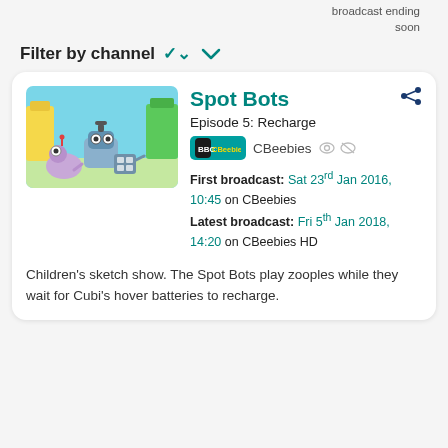broadcast ending soon
Filter by channel
[Figure (screenshot): Thumbnail image of Spot Bots animated characters - cartoon robots on a colourful background]
Spot Bots
Episode 5: Recharge
[Figure (logo): CBeebies BBC logo badge]
CBeebies
First broadcast: Sat 23rd Jan 2016, 10:45 on CBeebies
Latest broadcast: Fri 5th Jan 2018, 14:20 on CBeebies HD
Children's sketch show. The Spot Bots play zooples while they wait for Cubi's hover batteries to recharge.